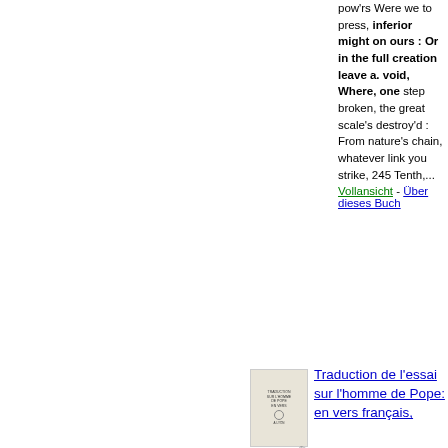pow'rs Were we to press, inferior might on ours : Or in the full creation leave a. void, Where, one step broken, the great scale's destroy'd : From nature's chain, whatever link you strike, 245 Tenth,...
Vollansicht - Über dieses Buch
[Figure (photo): Small thumbnail image of a book cover]
Traduction de l'essai sur l'homme de Pope: en vers français,